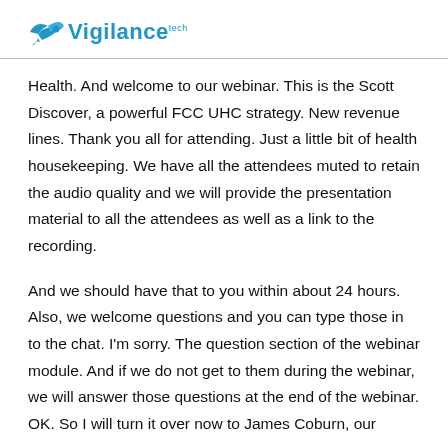Vigilance tech
Health. And welcome to our webinar. This is the Scott Discover, a powerful FCC UHC strategy. New revenue lines. Thank you all for attending. Just a little bit of health housekeeping. We have all the attendees muted to retain the audio quality and we will provide the presentation material to all the attendees as well as a link to the recording.
And we should have that to you within about 24 hours. Also, we welcome questions and you can type those in to the chat. I'm sorry. The question section of the webinar module. And if we do not get to them during the webinar, we will answer those questions at the end of the webinar. OK. So I will turn it over now to James Coburn, our